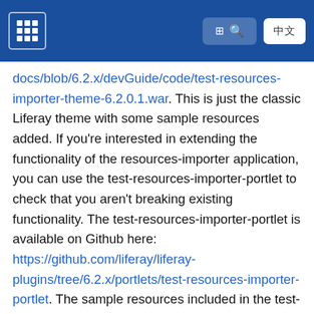[Liferay docs navigation header with grid icon, search button, and language button]
docs/blob/6.2.x/devGuide/code/test-resources-importer-theme-6.2.0.1.war. This is just the classic Liferay theme with some sample resources added. If you're interested in extending the functionality of the resources-importer application, you can use the test-resources-importer-portlet to check that you aren't breaking existing functionality. The test-resources-importer-portlet is available on Github here: https://github.com/liferay/liferay-plugins/tree/6.2.x/portlets/test-resources-importer-portlet. The sample resources included in the test-resources-importer-theme are the same ones included in the test-resources-importer-portlet. If you'd like to examine another example, check out the code for Liferay's welcome theme: https://github.com/liferay/liferay-plugins/tree/6.2.x/themes/welcome-theme. Note that this theme imports resources directly into the default site. Typically this won't be something you'll need to do instead...